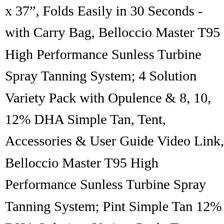x 37", Folds Easily in 30 Seconds - with Carry Bag, Belloccio Master T95 High Performance Sunless Turbine Spray Tanning System; 4 Solution Variety Pack with Opulence & 8, 10, 12% DHA Simple Tan, Tent, Accessories & User Guide Video Link, Belloccio Master T95 High Performance Sunless Turbine Spray Tanning System; Pint Simple Tan 12% DHA Solution, Variety Pack, Tent, Accessories & User Guide Video Link, Master Airbrush Extra Large Dual Fan Lighted Portable Hobby Airbrush Spray Booth with LED Lighting for Painting All Art, Cake,